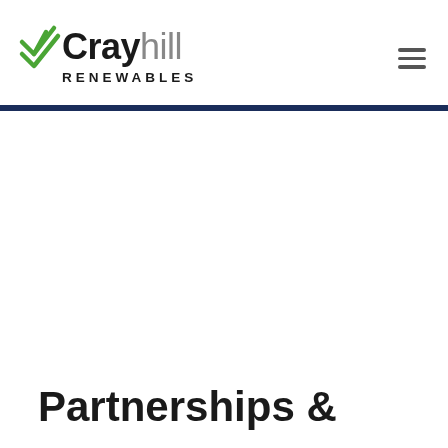Crayhill Renewables
Partnerships &